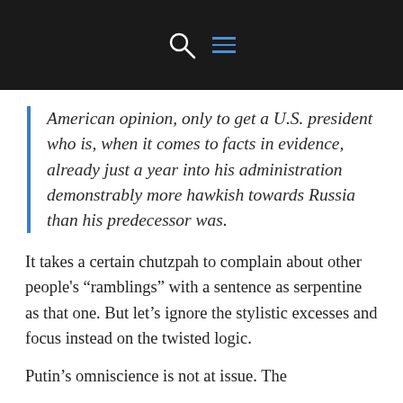[Figure (screenshot): Dark navigation bar with search icon and hamburger menu icon (blue lines)]
American opinion, only to get a U.S. president who is, when it comes to facts in evidence, already just a year into his administration demonstrably more hawkish towards Russia than his predecessor was.
It takes a certain chutzpah to complain about other people's “ramblings” with a sentence as serpentine as that one. But let’s ignore the stylistic excesses and focus instead on the twisted logic.
Putin’s omniscience is not at issue. The